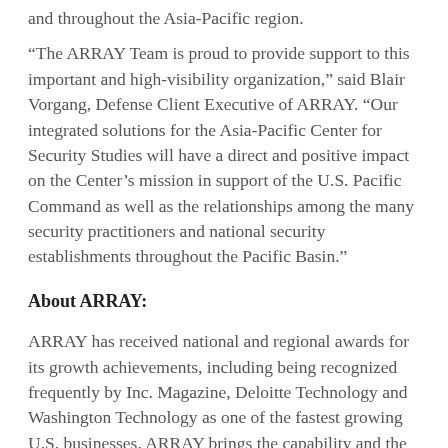and throughout the Asia-Pacific region.
“The ARRAY Team is proud to provide support to this important and high-visibility organization,” said Blair Vorgang, Defense Client Executive of ARRAY. “Our integrated solutions for the Asia-Pacific Center for Security Studies will have a direct and positive impact on the Center’s mission in support of the U.S. Pacific Command as well as the relationships among the many security practitioners and national security establishments throughout the Pacific Basin.”
About ARRAY:
ARRAY has received national and regional awards for its growth achievements, including being recognized frequently by Inc. Magazine, Deloitte Technology and Washington Technology as one of the fastest growing U.S. businesses. ARRAY brings the capability and the